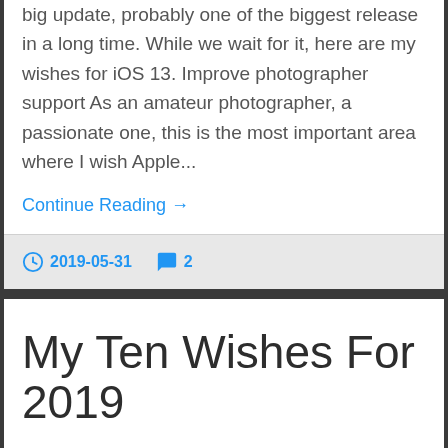big update, probably one of the biggest release in a long time. While we wait for it, here are my wishes for iOS 13. Improve photographer support As an amateur photographer, a passionate one, this is the most important area where I wish Apple...
Continue Reading →
2019-05-31   2
My Ten Wishes For 2019
This is my top ten wishes for the upcoming year. In no particular order. Close my Facebook account. Enough